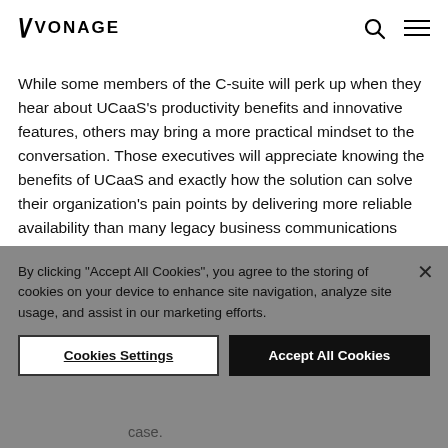VONAGE
While some members of the C-suite will perk up when they hear about UCaaS's productivity benefits and innovative features, others may bring a more practical mindset to the conversation. Those executives will appreciate knowing the benefits of UCaaS and exactly how the solution can solve their organization's pain points by delivering more reliable availability than many legacy business communications systems.
By clicking "Accept All Cookies", you agree to the storing of cookies on your device to enhance site navigation, analyze site usage, and assist in our marketing efforts.
Cookies Settings
Accept All Cookies
case.